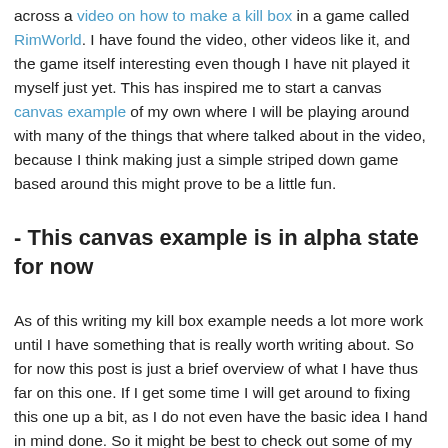across a video on how to make a kill box in a game called RimWorld. I have found the video, other videos like it, and the game itself interesting even though I have nit played it myself just yet. This has inspired me to start a canvas canvas example of my own where I will be playing around with many of the things that where talked about in the video, because I think making just a simple striped down game based around this might prove to be a little fun.
- This canvas example is in alpha state for now
As of this writing my kill box example needs a lot more work until I have something that is really worth writing about. So for now this post is just a brief overview of what I have thus far on this one. If I get some time I will get around to fixing this one up a bit, as I do not even have the basic idea I hand in mind done. So it might be best to check out some of my other canvas examples and not wast your time reading about something that is not done